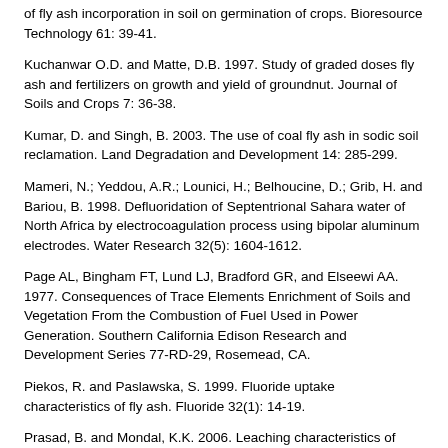of fly ash incorporation in soil on germination of crops. Bioresource Technology 61: 39-41.
Kuchanwar O.D. and Matte, D.B. 1997. Study of graded doses fly ash and fertilizers on growth and yield of groundnut. Journal of Soils and Crops 7: 36-38.
Kumar, D. and Singh, B. 2003. The use of coal fly ash in sodic soil reclamation. Land Degradation and Development 14: 285-299.
Mameri, N.; Yeddou, A.R.; Lounici, H.; Belhoucine, D.; Grib, H. and Bariou, B. 1998. Defluoridation of Septentrional Sahara water of North Africa by electrocoagulation process using bipolar aluminum electrodes. Water Research 32(5): 1604-1612.
Page AL, Bingham FT, Lund LJ, Bradford GR, and Elseewi AA. 1977. Consequences of Trace Elements Enrichment of Soils and Vegetation From the Combustion of Fuel Used in Power Generation. Southern California Edison Research and Development Series 77-RD-29, Rosemead, CA.
Piekos, R. and Paslawska, S. 1999. Fluoride uptake characteristics of fly ash. Fluoride 32(1): 14-19.
Prasad, B. and Mondal, K.K. 2006. Leaching characteristics of fluoride from coal ash. Asian Journal of Water Environment Pollution 4(2): 17-21.
Richburg, J.S. and Adams, F. 1970. Solubility and hydrolysis of aluminum in soil solutions and saturated paste extracts. Soil Science Society of